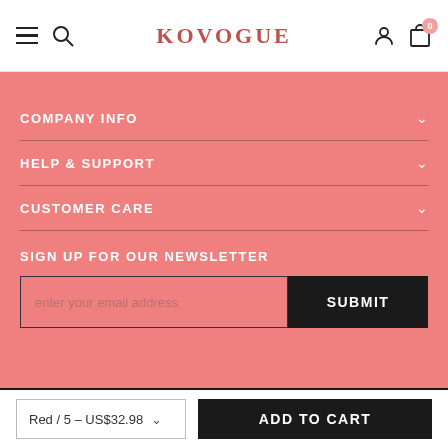KOVOGUE
COMPANY INFO
HELP & SUPPORT
CUSTOMER CARE
SIGN UP FOR OUR NEWSLETTER
enter your email address
SUBMIT
Red / 5 – US$32.98
ADD TO CART